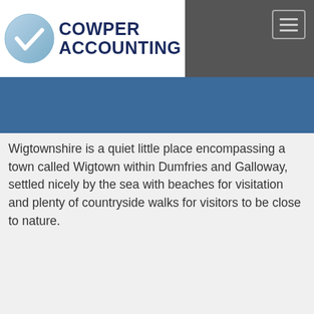[Figure (logo): Cowper Accounting logo with blue circle checkmark and bold navy text]
Wigtownshire is a quiet little place encompassing a town called Wigtown within Dumfries and Galloway, settled nicely by the sea with beaches for visitation and plenty of countryside walks for visitors to be close to nature.
Read More...